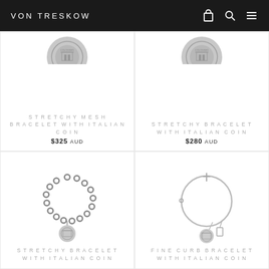VON TRESKOW
[Figure (photo): Partial view of coin charm bracelet product (top cropped), left column top row]
STRETCHY MESH BRACELET WITH ITALIAN COIN
$325 AUD
[Figure (photo): Partial view of coin charm bracelet product (top cropped), right column top row]
STRETCHY BRACELET WITH ITALIAN COIN
$280 AUD
[Figure (photo): Stretchy beaded bracelet with Italian coin charm pendant, silver colored]
STRETCHY BRACELET WITH ITALIAN COIN
[Figure (photo): Fine curb bracelet with Italian coin charm and tassel pendant, silver colored]
FINE CURB BRACELET WITH ITALIAN COIN